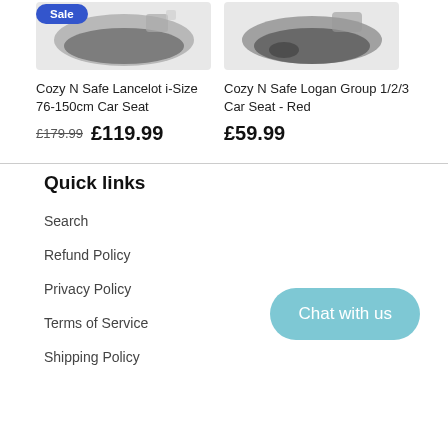[Figure (photo): Car seat product image (left) with blue 'Sale' badge overlay]
Cozy N Safe Lancelot i-Size 76-150cm Car Seat
£179.99  £119.99
[Figure (photo): Car seat product image (right), Cozy N Safe Logan]
Cozy N Safe Logan Group 1/2/3 Car Seat - Red
£59.99
Quick links
Search
Refund Policy
Privacy Policy
Terms of Service
Shipping Policy